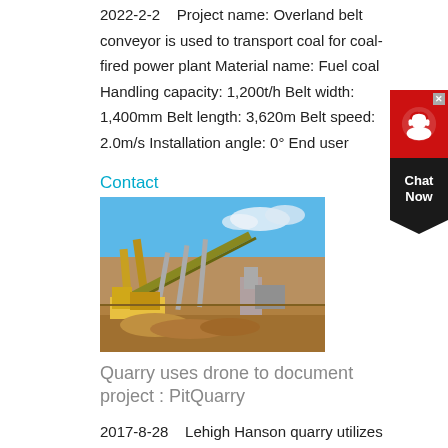2022-2-2   Project name: Overland belt conveyor is used to transport coal for coal-fired power plant Material name: Fuel coal Handling capacity: 1,200t/h Belt width: 1,400mm Belt length: 3,620m Belt speed: 2.0m/s Installation angle: 0° End user
Contact
[Figure (photo): Industrial quarry with overland belt conveyor system, heavy machinery and equipment visible under a blue sky with clouds.]
Quarry uses drone to document project : PitQuarry
2017-8-28   Lehigh Hanson quarry utilizes drone for conveyor project. For the past two years, Lehigh Hanson has been constructing a 4.5-mile overland belt conveyor